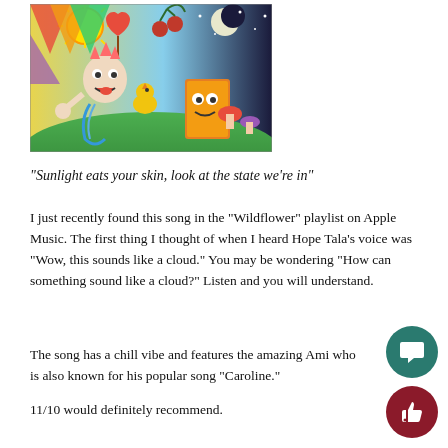[Figure (illustration): Colorful surrealist album art featuring cartoon-like characters including a clown-like figure, cherries, lollipops, a sun, moon, and a box of breakfast cereal against a bright psychedelic background.]
“Sunlight eats your skin, look at the state we’re in”
I just recently found this song in the “Wildflower” playlist on Apple Music. The first thing I thought of when I heard Hope Tala’s voice was “Wow, this sounds like a cloud.” You may be wondering “How can something sound like a cloud?” Listen and you will understand.
The song has a chill vibe and features the amazing Ami who is also known for his popular song “Caroline.”
11/10 would definitely recommend.